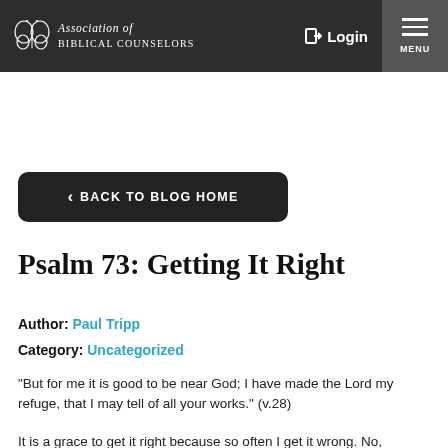Association of Biblical Counselors | Login | MENU
< BACK TO BLOG HOME
Psalm 73: Getting It Right
Author: Paul Tripp
Category: Uncategorized
"But for me it is good to be near God; I have made the Lord my refuge, that I may tell of all your works." (v.28)
It is a grace to get it right because so often I get it wrong. No,